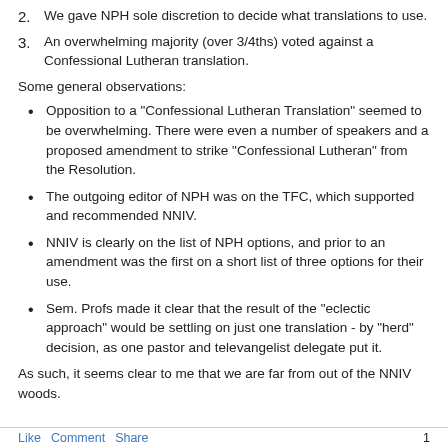2. We gave NPH sole discretion to decide what translations to use.
3. An overwhelming majority (over 3/4ths) voted against a Confessional Lutheran translation.
Some general observations:
Opposition to a "Confessional Lutheran Translation" seemed to be overwhelming. There were even a number of speakers and a proposed amendment to strike "Confessional Lutheran" from the Resolution.
The outgoing editor of NPH was on the TFC, which supported and recommended NNIV.
NNIV is clearly on the list of NPH options, and prior to an amendment was the first on a short list of three options for their use.
Sem. Profs made it clear that the result of the "eclectic approach" would be settling on just one translation - by "herd" decision, as one pastor and televangelist delegate put it.
As such, it seems clear to me that we are far from out of the NNIV woods.
Like  Comment  Share  1